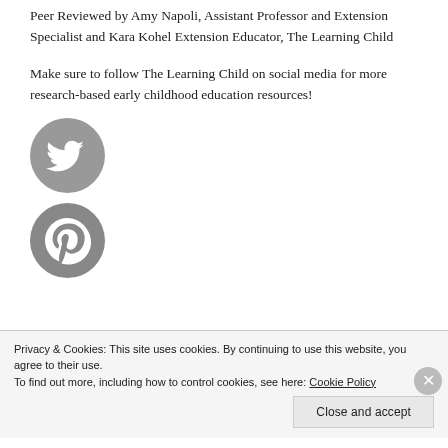Peer Reviewed by Amy Napoli, Assistant Professor and Extension Specialist and Kara Kohel Extension Educator, The Learning Child
Make sure to follow The Learning Child on social media for more research-based early childhood education resources!
[Figure (logo): Twitter social media icon — grey circle with white bird logo]
[Figure (logo): Pinterest social media icon — grey circle with white P logo]
Privacy & Cookies: This site uses cookies. By continuing to use this website, you agree to their use.
To find out more, including how to control cookies, see here: Cookie Policy
Close and accept